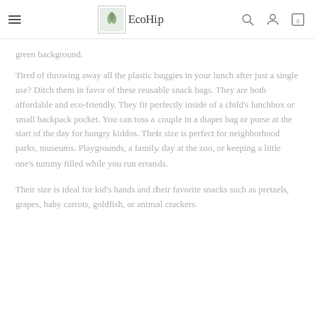EcoHip
green background.
Tired of throwing away all the plastic baggies in your lunch after just a single use? Ditch them in favor of these reusable snack bags. They are both affordable and eco-friendly. They fit perfectly inside of a child's lunchbox or small backpack pocket. You can toss a couple in a diaper bag or purse at the start of the day for hungry kiddos. Their size is perfect for neighborhood parks, museums. Playgrounds, a family day at the zoo, or keeping a little one's tummy filled while you run errands.
Their size is ideal for kid's hands and their favorite snacks such as pretzels, grapes, baby carrots, goldfish, or animal crackers.